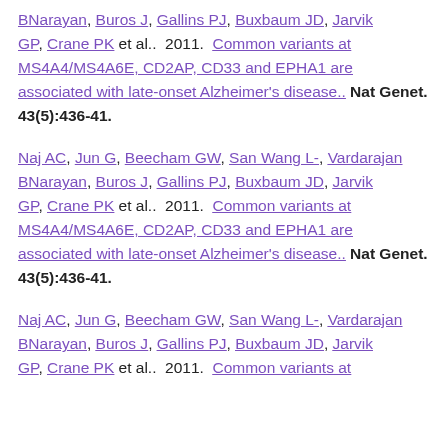BNarayan, Buros J, Gallins PJ, Buxbaum JD, Jarvik GP, Crane PK et al.. 2011. Common variants at MS4A4/MS4A6E, CD2AP, CD33 and EPHA1 are associated with late-onset Alzheimer's disease.. Nat Genet. 43(5):436-41.
Naj AC, Jun G, Beecham GW, San Wang L-, Vardarajan BNarayan, Buros J, Gallins PJ, Buxbaum JD, Jarvik GP, Crane PK et al.. 2011. Common variants at MS4A4/MS4A6E, CD2AP, CD33 and EPHA1 are associated with late-onset Alzheimer's disease.. Nat Genet. 43(5):436-41.
Naj AC, Jun G, Beecham GW, San Wang L-, Vardarajan BNarayan, Buros J, Gallins PJ, Buxbaum JD, Jarvik GP, Crane PK et al.. 2011. Common variants at...